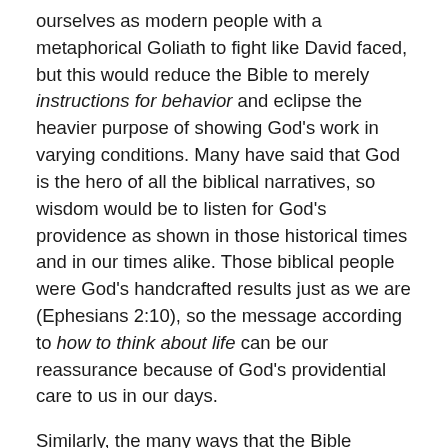ourselves as modern people with a metaphorical Goliath to fight like David faced, but this would reduce the Bible to merely instructions for behavior and eclipse the heavier purpose of showing God's work in varying conditions. Many have said that God is the hero of all the biblical narratives, so wisdom would be to listen for God's providence as shown in those historical times and in our times alike. Those biblical people were God's handcrafted results just as we are (Ephesians 2:10), so the message according to how to think about life can be our reassurance because of God's providential care to us in our days.
Similarly, the many ways that the Bible commands people to love others and love God can be read as behaviors we must work up in ourselves, but a better way is to see that God is working to persuade us to desire this other-centered mode of life as what we desire for ourselves. Surely we are warned that coveting and murder are clear evils, but the warnings about them are to point by negative boundaries to the worldview God would form in us to want to care for others. Our natural orientation is inward, to our desires and satisfaction—how we